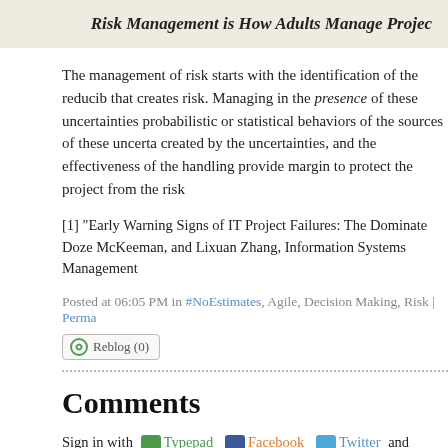Risk Management is How Adults Manage Projec
The management of risk starts with the identification of the reducib that creates risk. Managing in the presence of these uncertainties probabilistic or statistical behaviors of the sources of these uncerta created by the uncertainties, and the effectiveness of the handling provide margin to protect the project from the risk
[1] "Early Warning Signs of IT Project Failures: The Dominate Doze McKeeman, and Lixuan Zhang, Information Systems Management
Posted at 06:05 PM in #NoEstimates, Agile, Decision Making, Risk | Perma
Reblog (0)
Comments
Sign in with Typepad Facebook Twitter and more...
[Figure (logo): POWERED BY TypePad badge]